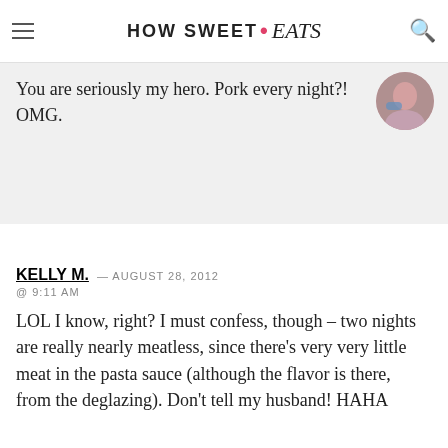HOW SWEET eats
You are seriously my hero. Pork every night?! OMG.
KELLY M. — AUGUST 28, 2012 @ 9:11 AM
LOL I know, right? I must confess, though – two nights are really nearly meatless, since there's very very little meat in the pasta sauce (although the flavor is there, from the deglazing). Don't tell my husband! HAHA